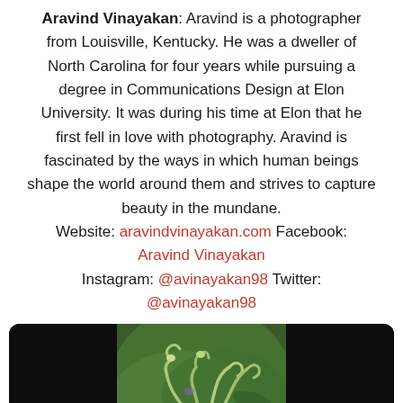Aravind Vinayakan: Aravind is a photographer from Louisville, Kentucky. He was a dweller of North Carolina for four years while pursuing a degree in Communications Design at Elon University. It was during his time at Elon that he first fell in love with photography. Aravind is fascinated by the ways in which human beings shape the world around them and strives to capture beauty in the mundane. Website: aravindvinayakan.com Facebook: Aravind Vinayakan Instagram: @avinayakan98 Twitter: @avinayakan98
[Figure (photo): Close-up macro photograph of a purple flower with curling green stamens/pistils against a blurred green background, displayed in a rounded dark frame.]